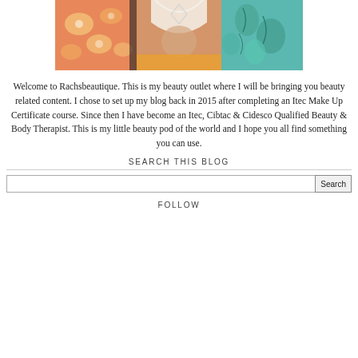[Figure (photo): A collage of three decorative fabric/clothing images with floral and lace patterns in orange, white, and teal colors.]
Welcome to Rachsbeautique. This is my beauty outlet where I will be bringing you beauty related content. I chose to set up my blog back in 2015 after completing an Itec Make Up Certificate course. Since then I have become an Itec, Cibtac & Cidesco Qualified Beauty & Body Therapist. This is my little beauty pod of the world and I hope you all find something you can use.
SEARCH THIS BLOG
Search
FOLLOW